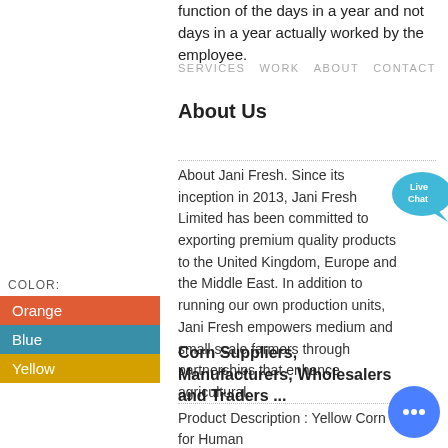function of the days in a year and not days in a year actually worked by the employee.
SERVICES   WORK   ABOUT   CONTACT
About Us
About Jani Fresh. Since its inception in 2013, Jani Fresh Limited has been committed to exporting premium quality products to the United Kingdom, Europe and the Middle East. In addition to running our own production units, Jani Fresh empowers medium and small scale farmers through partnerships that enhance agricultural...
[Figure (other): Live Chat bubble widget in blue]
| COLOR |  |
| --- | --- |
| Orange |  |
| Blue |  |
| Yellow |  |
Corn Suppliers, Manufacturers, Wholesalers and Traders ...
Product Description : Yellow Corn for Human